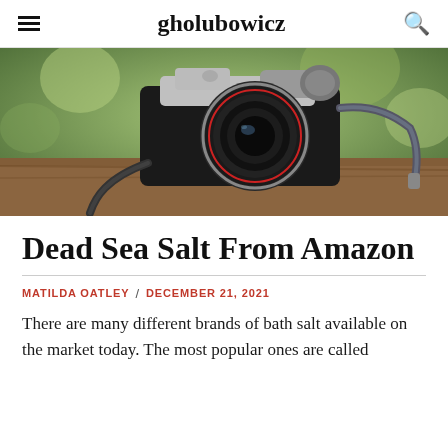gholubowicz
[Figure (photo): A vintage film camera with lens sitting on a wooden surface with a blurred green background]
Dead Sea Salt From Amazon
MATILDA OATLEY / DECEMBER 21, 2021
There are many different brands of bath salt available on the market today. The most popular ones are called Dead Sea salts. In some cases, the Secrets are a form of